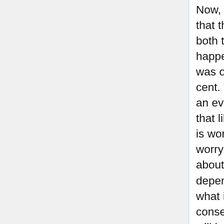Now, suppose that the risk of both things happening was one per cent. Whether an event with that likelihood is worth worrying about depends on what its consequences will be. From the larger point of view, the consequences included systemic meltdown; but Posner invites us to focus our attention on what they looked like for individual bankers. They had strong incentives for taking the maximum amount of risks in their lending, since risks are correlated with rewards, and the bankers were so well paid that they didn't